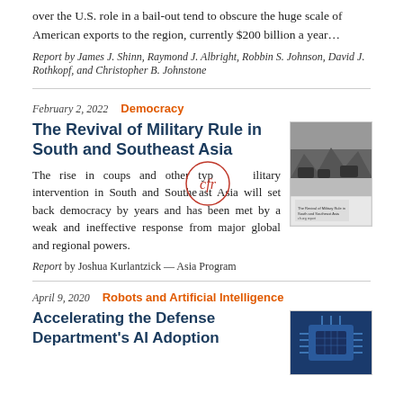over the U.S. role in a bail-out tend to obscure the huge scale of American exports to the region, currently $200 billion a year…
Report by James J. Shinn, Raymond J. Albright, Robbin S. Johnson, David J. Rothkopf, and Christopher B. Johnstone
February 2, 2022   Democracy
The Revival of Military Rule in South and Southeast Asia
The rise in coups and other types of military intervention in South and Southeast Asia will set back democracy by years and has been met by a weak and ineffective response from major global and regional powers.
Report by Joshua Kurlantzick — Asia Program
[Figure (photo): Black and white photo of military vehicles in snowy landscape, with small book cover thumbnail below]
April 9, 2020   Robots and Artificial Intelligence
Accelerating the Defense Department's AI Adoption
[Figure (photo): Blue-toned photo of a computer chip or circuit board]